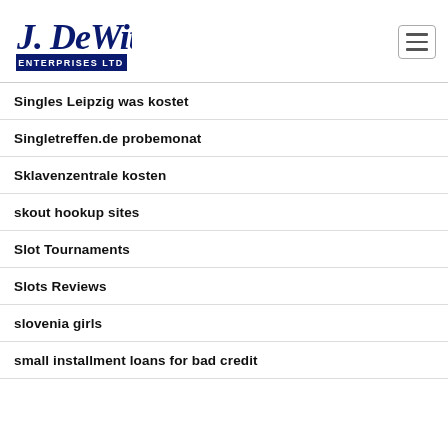[Figure (logo): J. DeWitt Enterprises Ltd logo in dark navy blue, script and block lettering]
Singles Leipzig was kostet
Singletreffen.de probemonat
Sklavenzentrale kosten
skout hookup sites
Slot Tournaments
Slots Reviews
slovenia girls
small installment loans for bad credit